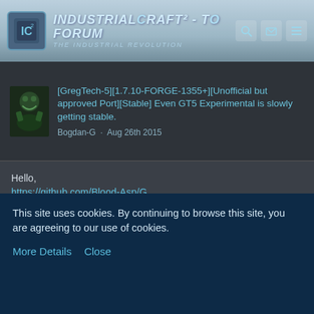IndustrialCraft² - The Forum | The Industrial Revolution
[GregTech-5][1.7.10-FORGE-1355+][Unofficial but approved Port][Stable] Even GT5 Experimental is slowly getting stable.
Bogdan-G · Aug 26th 2015
Hello,
https://github.com/Blood-Asp/G.../al/blob/master/.gitignore ↗
it does not work, the files are loaded thumbs.db still remain:
https://github.com/Blood-Asp/G.../gregtech/textures/entity ↗ (for example)
Maybe this option will help:
Display Spoiler
This site uses cookies. By continuing to browse this site, you are agreeing to our use of cookies.
More Details   Close